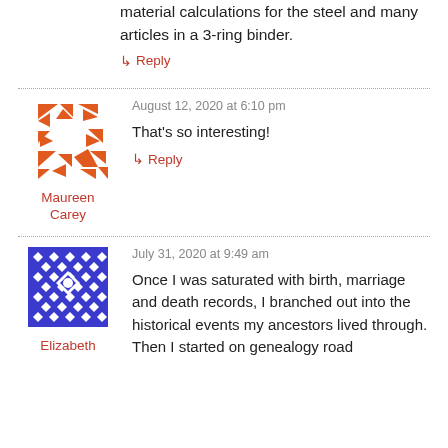material calculations for the steel and many articles in a 3-ring binder.
↳ Reply
August 12, 2020 at 6:10 pm
[Figure (illustration): Orange geometric abstract avatar with triangle shapes for Maureen Carey]
Maureen Carey
That's so interesting!
↳ Reply
July 31, 2020 at 9:49 am
[Figure (illustration): Blue and white geometric pattern avatar for Elizabeth]
Elizabeth
Once I was saturated with birth, marriage and death records, I branched out into the historical events my ancestors lived through. Then I started on genealogy road